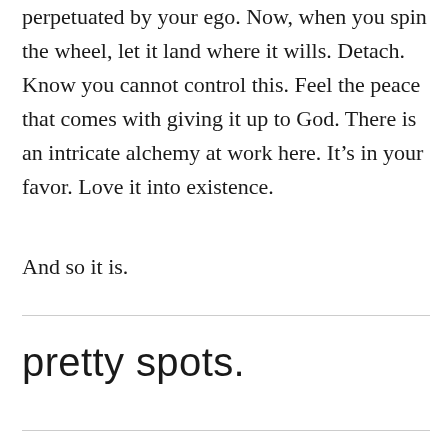perpetuated by your ego. Now, when you spin the wheel, let it land where it wills. Detach. Know you cannot control this. Feel the peace that comes with giving it up to God. There is an intricate alchemy at work here. It’s in your favor. Love it into existence.
And so it is.
pretty spots.